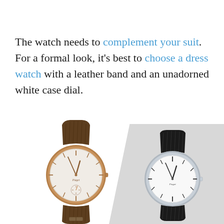The watch needs to complement your suit. For a formal look, it's best to choose a dress watch with a leather band and an unadorned white case dial.
[Figure (photo): Two Piaget dress watches side by side. Left: rose gold case with brown leather strap and white dial. Right: silver/white gold case with black leather strap and white dial, shown against a grey diagonal background.]